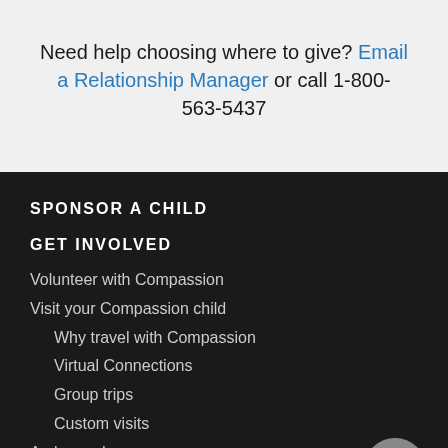Need help choosing where to give? Email a Relationship Manager or call 1-800-563-5437
SPONSOR A CHILD
GET INVOLVED
Volunteer with Compassion
Visit your Compassion child
Why travel with Compassion
Virtual Connections
Group trips
Custom visits
Ambassadors
Partner in prayer